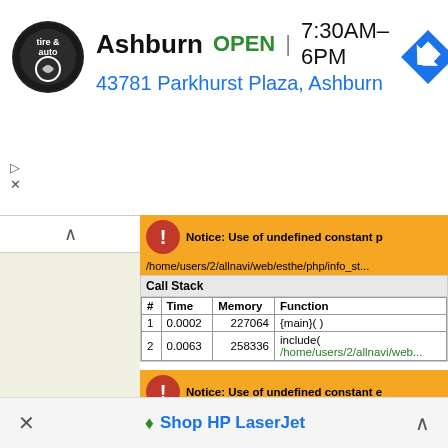[Figure (screenshot): Ad banner for Virginia Tire & Auto Ashburn location showing logo, OPEN status, hours 7:30AM–6PM, address 43781 Parkhurst Plaza Ashburn, and a blue direction arrow icon]
[Figure (screenshot): PHP error notice: Use of undefined constant p, path /home/users/2/allnavi/web/esthe/php/info_st... with Call Stack table showing # Time Memory Function rows: 1 0.0002 227064 {main}() and 2 0.0063 258336 include( /home/users/2/allnavi/web...]
[Figure (screenshot): Second PHP error notice: Use of undefined constant e, same path, same Call Stack table with rows: 1 0.0002 227064 {main}() and 2 0.0063 258336 include( /home/users/2/allnavi/web...]
□□□□□
□□ : □□□□□□□□□□□3-6
× Shop HP LaserJet ^